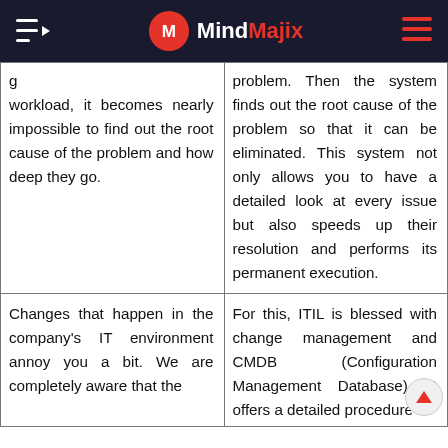MindMajix
| g
workload, it becomes nearly impossible to find out the root cause of the problem and how deep they go. | problem. Then the system finds out the root cause of the problem so that it can be eliminated. This system not only allows you to have a detailed look at every issue but also speeds up their resolution and performs its permanent execution. |
| Changes that happen in the company's IT environment annoy you a bit. We are completely aware that the | For this, ITIL is blessed with change management and CMDB (Configuration Management Database). It offers a detailed procedure |